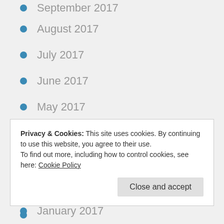September 2017
August 2017
July 2017
June 2017
May 2017
April 2017
March 2017
February 2017
January 2017
December 2016
November 2016
October 2016
September 2016
Privacy & Cookies: This site uses cookies. By continuing to use this website, you agree to their use.
To find out more, including how to control cookies, see here: Cookie Policy
March 2016